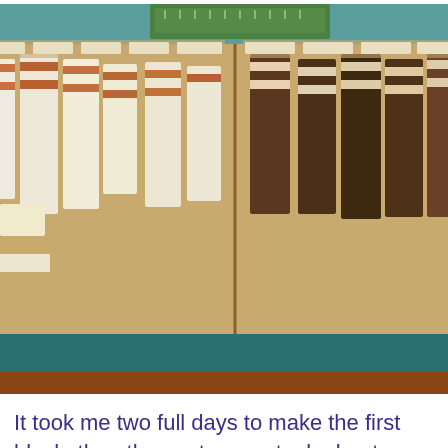[Figure (photo): A cardboard box tray containing organized stacks of fabric strips in cream/white and brown/rust colors, arranged in rows on a cutting mat background.]
It took me two full days to make the first block, then the next seven took about three hours.
[Figure (photo): A quilt block layout showing a log cabin or staircase pattern made with floral fabrics in green, brown, rust, cream and beige tones arranged in a diagonal stair-step pattern.]